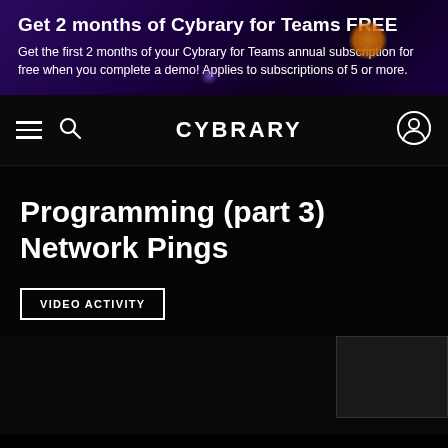Get 2 months of Cybrary for Teams FREE
Get the first 2 months of your Cybrary for Teams annual subscription for free when you complete a demo! Applies to subscriptions of 5 or more.
[Figure (screenshot): Cybrary website navigation bar with hamburger menu, search icon, CYBRARY logo, and user account icon on black background]
Programming (part 3) Network Pings
VIDEO ACTIVITY